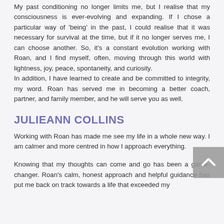My past conditioning no longer limits me, but I realise that my consciousness is ever-evolving and expanding. If I chose a particular way of 'being' in the past, I could realise that it was necessary for survival at the time, but if it no longer serves me, I can choose another. So, it's a constant evolution working with Roan, and I find myself, often, moving through this world with lightness, joy, peace, spontaneity, and curiosity.
In addition, I have learned to create and be committed to integrity, my word. Roan has served me in becoming a better coach, partner, and family member, and he will serve you as well.
JULIEANN COLLINS
Working with Roan has made me see my life in a whole new way. I am calmer and more centred in how I approach everything.
Knowing that my thoughts can come and go has been a game-changer. Roan's calm, honest approach and helpful guidance has put me back on track towards a life that exceeded my